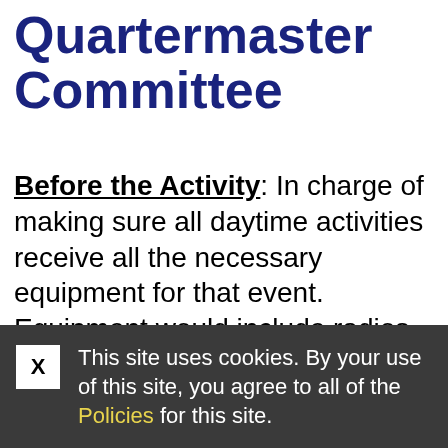Quartermaster Committee
Before the Activity: In charge of making sure all daytime activities receive all the necessary equipment for that event. Equipment would include radios, first aid kits, maps, any payments for the vendors, any tickets for the participants. They will also be responsible for making
X  This site uses cookies. By your use of this site, you agree to all of the Policies for this site.